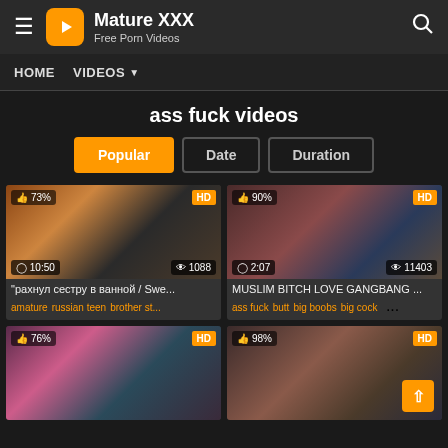Mature XXX – Free Porn Videos
ass fuck videos
[Figure (screenshot): Video thumbnail 1 with 73% like rating, HD badge, duration 10:50, 1088 views]
"рахнул сестру в ванной / Swe...
amature russian teen brother st...
[Figure (screenshot): Video thumbnail 2 with 90% like rating, HD badge, duration 2:07, 11403 views]
MUSLIM BITCH LOVE GANGBANG ...
ass fuck butt big boobs big cock ...
[Figure (screenshot): Video thumbnail 3 with 76% like rating, HD badge]
[Figure (screenshot): Video thumbnail 4 with 98% like rating, HD badge]